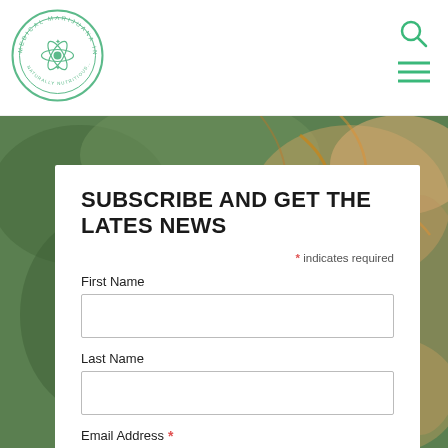[Figure (logo): Medical Marijuana Inc circular logo with green border and atom/plant icon in center]
[Figure (illustration): Search icon (magnifying glass) and hamburger menu icon in teal/green color]
[Figure (photo): Background photo of cannabis plant buds with orange and green tones]
SUBSCRIBE AND GET THE LATES NEWS
* indicates required
First Name
Last Name
Email Address *